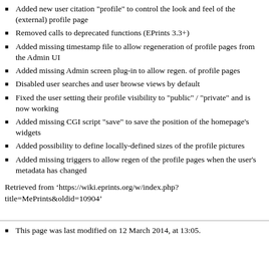Added new user citation "profile" to control the look and feel of the (external) profile page
Removed calls to deprecated functions (EPrints 3.3+)
Added missing timestamp file to allow regeneration of profile pages from the Admin UI
Added missing Admin screen plug-in to allow regen. of profile pages
Disabled user searches and user browse views by default
Fixed the user setting their profile visibility to "public" / "private" and is now working
Added missing CGI script "save" to save the position of the homepage's widgets
Added possibility to define locally-defined sizes of the profile pictures
Added missing triggers to allow regen of the profile pages when the user's metadata has changed
Retrieved from ‘https://wiki.eprints.org/w/index.php?title=MePrints&oldid=10904’
This page was last modified on 12 March 2014, at 13:05.